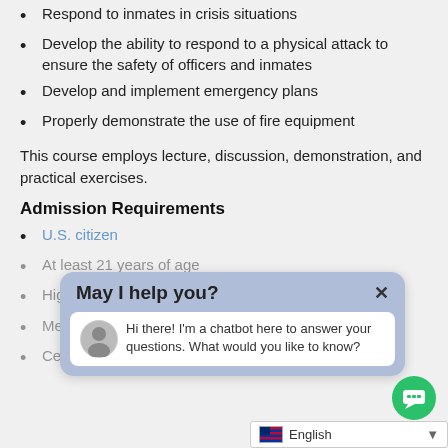Respond to inmates in crisis situations
Develop the ability to respond to a physical attack to ensure the safety of officers and inmates
Develop and implement emergency plans
Properly demonstrate the use of fire equipment
This course employs lecture, discussion, demonstration, and practical exercises.
Admission Requirements
U.S. citizen
At least 21 years of age
High School graduate or equivalent
Medical examination by a licensed physician
Certified criminal history from each county that